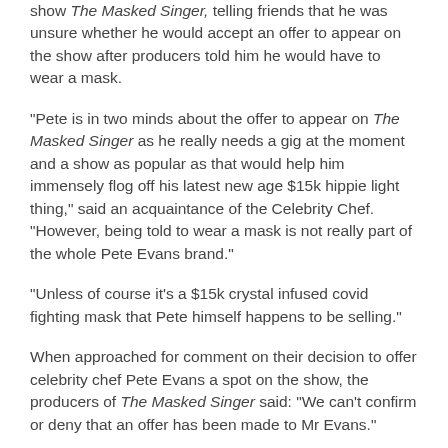show The Masked Singer, telling friends that he was unsure whether he would accept an offer to appear on the show after producers told him he would have to wear a mask.
"Pete is in two minds about the offer to appear on The Masked Singer as he really needs a gig at the moment and a show as popular as that would help him immensely flog off his latest new age $15k hippie light thing," said an acquaintance of the Celebrity Chef. "However, being told to wear a mask is not really part of the whole Pete Evans brand."
"Unless of course it's a $15k crystal infused covid fighting mask that Pete himself happens to be selling."
When approached for comment on their decision to offer celebrity chef Pete Evans a spot on the show, the producers of The Masked Singer said: "We can't confirm or deny that an offer has been made to Mr Evans."
"Our show strives to have the best talent that we can source, I mean last year we did have Brett Lee and Wendell Sailor."